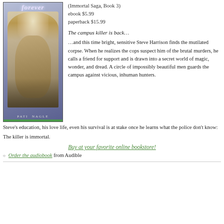[Figure (illustration): Book cover for 'Forever' (Immortal Saga, Book 3) by Pati Nagle, showing a young blond man with a blue/purple background and green bar at bottom]
(Immortal Saga, Book 3)
ebook $5.99
paperback $15.99
The campus killer is back…
…and this time bright, sensitive Steve Harrison finds the mutilated corpse. When he realizes the cops suspect him of the brutal murders, he calls a friend for support and is drawn into a secret world of magic, wonder, and dread. A circle of impossibly beautiful men guards the campus against vicious, inhuman hunters.
Steve's education, his love life, even his survival is at stake once he learns what the police don't know:
The killer is immortal.
Buy at your favorite online bookstore!
Order the audiobook from Audible